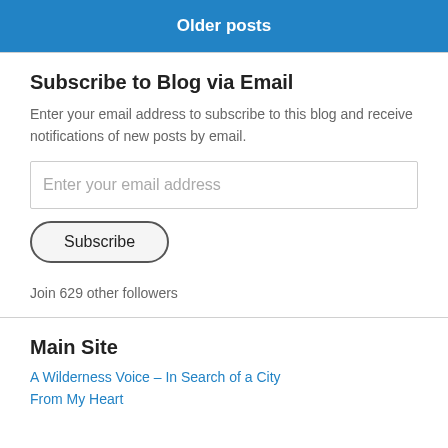Older posts
Subscribe to Blog via Email
Enter your email address to subscribe to this blog and receive notifications of new posts by email.
Enter your email address
Subscribe
Join 629 other followers
Main Site
A Wilderness Voice – In Search of a City
From My Heart